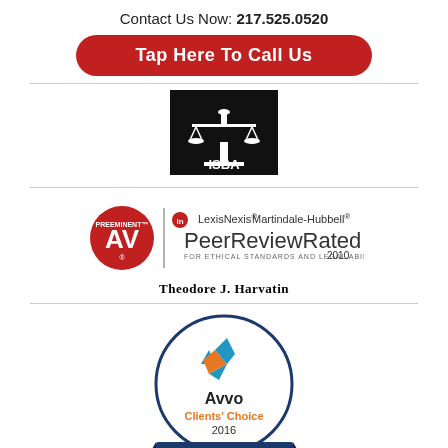Contact Us Now: 217.525.0520
Tap Here To Call Us
[Figure (logo): ISBA (Illinois State Bar Association) logo – black background with scales of justice icon and ISBA text]
[Figure (logo): AV Preeminent Martindale-Hubbell LexisNexis Peer Review Rated badge for Theodore J. Harvatin, 2010]
Theodore J. Harvatin
[Figure (logo): Avvo Clients' Choice 2016 badge with star logo]